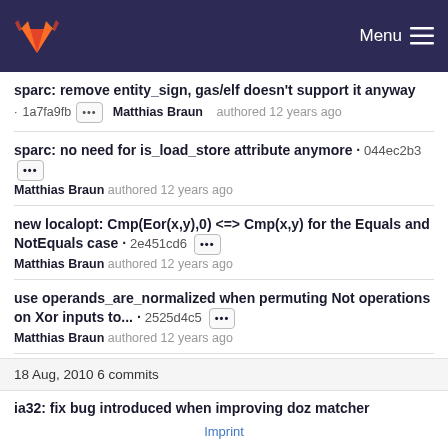GitLab — Menu
sparc: remove entity_sign, gas/elf doesn't support it anyway
· 1a7fa9fb ••• Matthias Braun authored 12 years ago
sparc: no need for is_load_store attribute anymore · 044ec2b3 •••
Matthias Braun authored 12 years ago
new localopt: Cmp(Eor(x,y),0) <=> Cmp(x,y) for the Equals and NotEquals case · 2e451cd6 •••
Matthias Braun authored 12 years ago
use operands_are_normalized when permuting Not operations on Xor inputs to... · 2525d4c5 •••
Matthias Braun authored 12 years ago
18 Aug, 2010 6 commits
ia32: fix bug introduced when improving doz matcher
Imprint